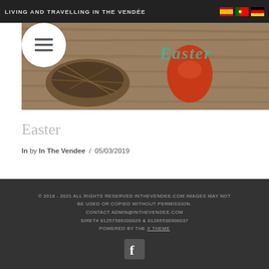LIVING AND TRAVELLING IN THE VENDÉE
[Figure (photo): Easter-themed banner image showing a wicker/twig nest, a red/orange Easter egg, on a wooden surface, with stylized teal 'Easter' text overlay and a circular hamburger menu button on the left]
Easter
In by In The Vendee / 05/03/2019
© 2018 - 2021 ALL RIGHTS RESERVED INTHEVENDEE.COM IMAGES MAY NOT BE USED OR COPIED WITHOUT PERMISSION. CONTACT ADMIN@INTHEVENDEE.COM SIRET# 81257589200029 & 81265538900037 POWERED BY THE X THEME